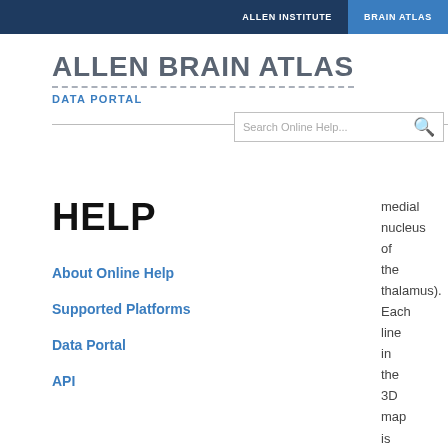ALLEN INSTITUTE  BRAIN ATLAS
ALLEN BRAIN ATLAS
DATA PORTAL
Search Online Help...
HELP
About Online Help
Supported Platforms
Data Portal
API
medial nucleus of the thalamus). Each line in the 3D map is the